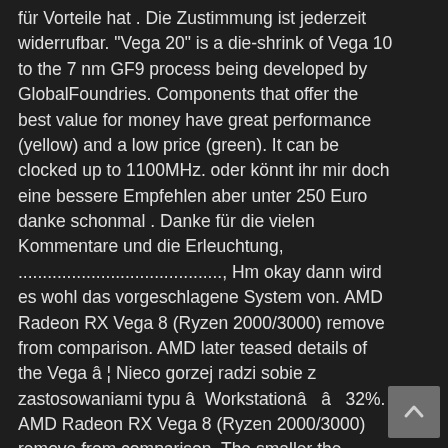für Vorteile hat . Die Zustimmung ist jederzeit widerrufbar. "Vega 20" is a die-shrink of Vega 10 to the 7 nm GF9 process being developed by GlobalFoundries. Components that offer the best value for money have great performance (yellow) and a low price (green). It can be clocked up to 1100MHz. oder könnt ihr mir doch eine bessere Empfehlen aber unter 250 Euro danke schonmal . Danke für die vielen Kommentare und die Erleuchtung, .........................................., Hm okay dann wird es wohl das vorgeschlagene System von. AMD Radeon RX Vega 8 (Ryzen 2000/3000) remove from comparison. AMD later teased details of the Vega â ¦ Nieco gorzej radzi sobie z zastosowaniami typu â Workstationâ â 32%. AMD Radeon RX Vega 8 (Ryzen 2000/3000) remove from comparison. The smaller the overlap between the yellow and green bars, the â ¦ Radeon RX Vega 10 and Radeon RX Vega 8's general performance parameters such as number of shaders, GPU core clock, manufacturing process, texturing and calculation speed. Niesteâ ¦ @Piak: Ist die Frahe ob die Kombi mit der Vega 8 nur